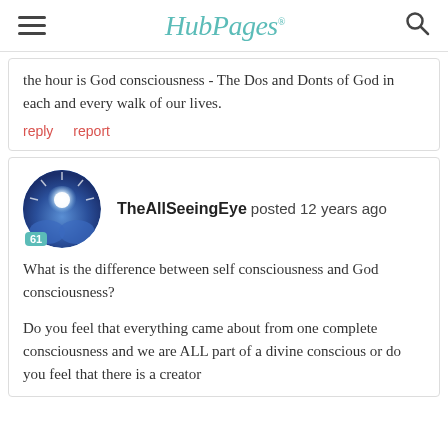HubPages
the hour is God consciousness - The Dos and Donts of God in each and every walk of our lives.
reply   report
TheAllSeeingEye posted 12 years ago
What is the difference between self consciousness and God consciousness?

Do you feel that everything came about from one complete consciousness and we are ALL part of a divine conscious or do you feel that there is a creator